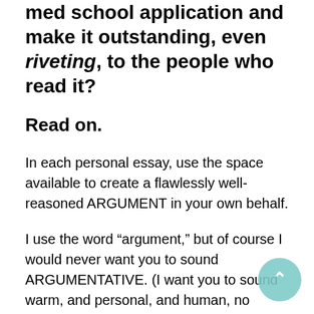med school application and make it outstanding, even riveting, to the people who read it?
Read on.
In each personal essay, use the space available to create a flawlessly well-reasoned ARGUMENT in your own behalf.
I use the word “argument,” but of course I would never want you to sound ARGUMENTATIVE. (I want you to sound warm, and personal, and human, no question about that.) “Argument” just means that when someone gets done reading your